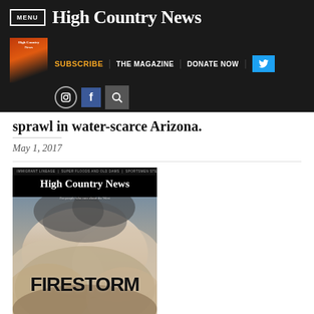MENU | High Country News
SUBSCRIBE | THE MAGAZINE | DONATE NOW
sprawl in water-scarce Arizona.
May 1, 2017
[Figure (photo): High Country News magazine cover showing a firestorm with smoke clouds, title FIRESTORM, with subtext 'Inside the dangerous and...']